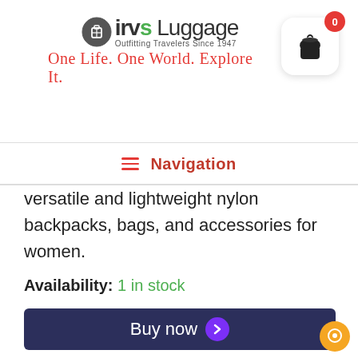[Figure (logo): Irv's Luggage logo with suitcase icon, text 'irvs Luggage', subtitle 'Outfitting Travelers Since 1947', and tagline 'One Life. One World. Explore It.' in red cursive]
[Figure (other): Shopping cart button icon with badge showing 0]
Navigation
versatile and lightweight nylon backpacks, bags, and accessories for women.
Availability: 1 in stock
Buy now
— OR —